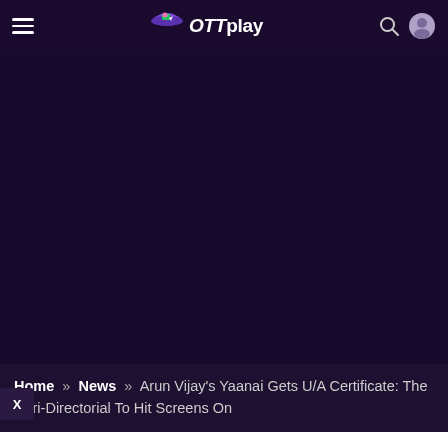OTTplay
[Figure (screenshot): Dark purple/navy banner area, large empty space below the OTTplay navigation header]
Home » News » Arun Vijay's Yaanai Gets U/A Certificate: The Hari-Directorial To Hit Screens On